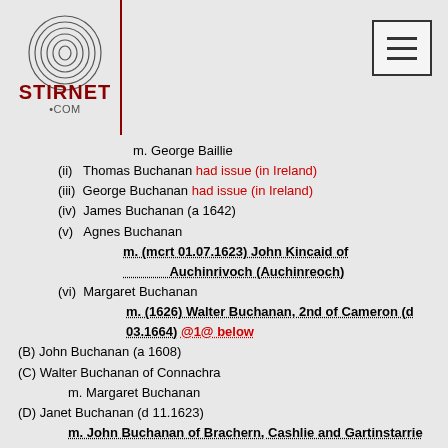[Figure (logo): Stirnet.com fingerprint logo]
m. George Baillie
(ii) Thomas Buchanan had issue (in Ireland)
(iii) George Buchanan had issue (in Ireland)
(iv) James Buchanan (a 1642)
(v) Agnes Buchanan m. (mcrt 01.07.1623) John Kincaid of Auchinrivoch (Auchinreoch)
(vi) Margaret Buchanan m. (1626) Walter Buchanan, 2nd of Cameron (d 03.1664) @1@ below
(B) John Buchanan (a 1608)
(C) Walter Buchanan of Connachra m. Margaret Buchanan
(D) Janet Buchanan (d 11.1623) m. John Buchanan of Brachern, Cashlie and Gartinstarrie
(E) Agnes Buchanan m. (1604) Thomas Buchanan of Ballochruin and Ibert